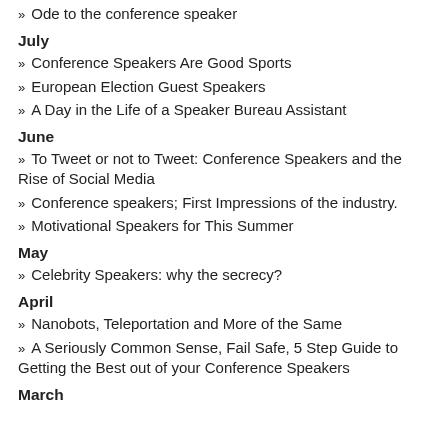Ode to the conference speaker
July
Conference Speakers Are Good Sports
European Election Guest Speakers
A Day in the Life of a Speaker Bureau Assistant
June
To Tweet or not to Tweet: Conference Speakers and the Rise of Social Media
Conference speakers; First Impressions of the industry.
Motivational Speakers for This Summer
May
Celebrity Speakers: why the secrecy?
April
Nanobots, Teleportation and More of the Same
A Seriously Common Sense, Fail Safe, 5 Step Guide to Getting the Best out of your Conference Speakers
March